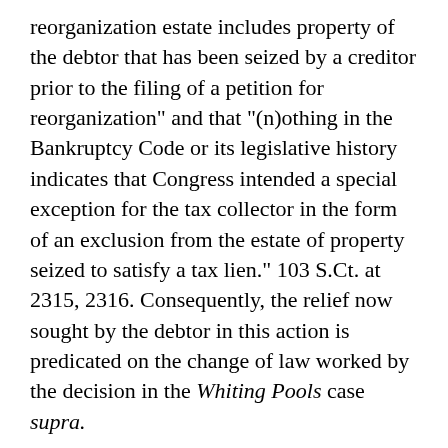reorganization estate includes property of the debtor that has been seized by a creditor prior to the filing of a petition for reorganization" and that "(n)othing in the Bankruptcy Code or its legislative history indicates that Congress intended a special exception for the tax collector in the form of an exclusion from the estate of property seized to satisfy a tax lien." 103 S.Ct. at 2315, 2316. Consequently, the relief now sought by the debtor in this action is predicated on the change of law worked by the decision in the Whiting Pools case supra.
This court has conducted its hearing on the complaint now before the court on August 9, 1983, whereupon the parties respectively appeared by counsel and it was established that, although the Internal Revenue Service has not yet sold the real property in question pursuant to the district court's